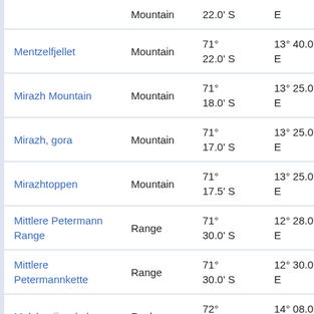| Name | Type | Latitude | Longitude |  |
| --- | --- | --- | --- | --- |
| Mentzolborg (partial) | Mountain | 71° 22.0' S | E |  |
| Mentzelfjellet | Mountain | 71° 22.0' S | 13° 40.0' E |  |
| Mirazh Mountain | Mountain | 71° 18.0' S | 13° 25.0' E |  |
| Mirazh, gora | Mountain | 71° 17.0' S | 13° 25.0' E |  |
| Mirazhtoppen | Mountain | 71° 17.5' S | 13° 25.0' E |  |
| Mittlere Petermann Range | Range | 71° 30.0' S | 12° 28.0' E |  |
| Mittlere Petermannkette | Range | 71° 30.0' S | 12° 30.0' E |  |
| Molchanija, skala | Rock | 72° 09.0' S | 14° 08.0' E |  |
| (partial) |  | 72° | 14° 06.0' |  |